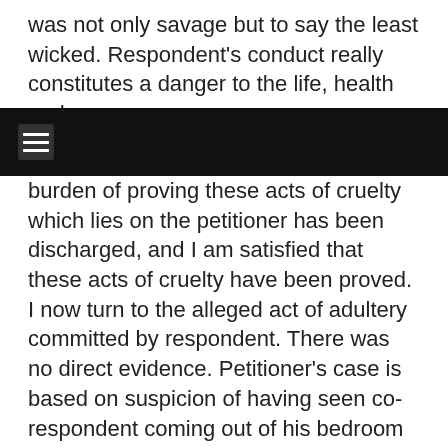was not only savage but to say the least wicked. Respondent's conduct really constitutes a danger to the life, health and
burden of proving these acts of cruelty which lies on the petitioner has been discharged, and I am satisfied that these acts of cruelty have been proved. I now turn to the alleged act of adultery committed by respondent. There was no direct evidence. Petitioner's case is based on suspicion of having seen co-respondent coming out of his bedroom with his flap unbuttoned and having seen some stained spots on his vest when he looked at it on two occasions, viz.: First, when, as he deposed, his (co-respondent's) trousers dropped when he reprimanded him shortly after the incident, and, secondly, when he went to